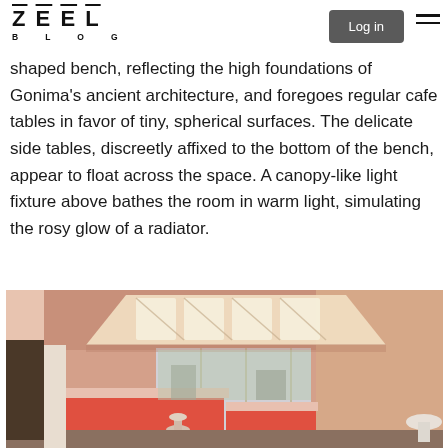ZEEL BLOG — Log in
shaped bench, reflecting the high foundations of Gonima's ancient architecture, and foregoes regular cafe tables in favor of tiny, spherical surfaces. The delicate side tables, discreetly affixed to the bottom of the bench, appear to float across the space. A canopy-like light fixture above bathes the room in warm light, simulating the rosy glow of a radiator.
[Figure (photo): Interior photo of a café space with salmon/coral-colored bench seating, a geometric canopy-like light fixture on the ceiling with warm lighting panels, large windows with natural light, and white walls. The seating appears to be a continuous U-shaped bench in a warm orange-red hue.]